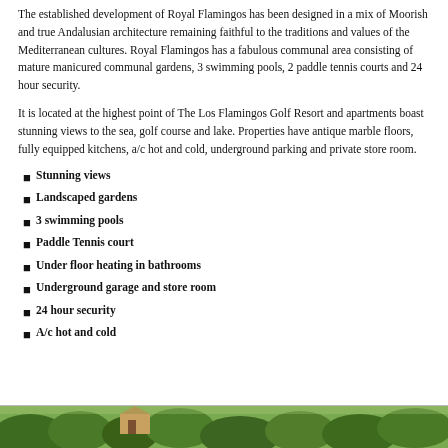The established development of Royal Flamingos has been designed in a mix of Moorish and true Andalusian architecture remaining faithful to the traditions and values of the Mediterranean cultures. Royal Flamingos has a fabulous communal area consisting of mature manicured communal gardens, 3 swimming pools, 2 paddle tennis courts and 24 hour security.
It is located at the highest point of The Los Flamingos Golf Resort and apartments boast stunning views to the sea, golf course and lake. Properties have antique marble floors, fully equipped kitchens, a/c hot and cold, underground parking and private store room.
Stunning views
Landscaped gardens
3 swimming pools
Paddle Tennis court
Under floor heating in bathrooms
Underground garage and store room
24 hour security
A/c hot and cold
[Figure (photo): Outdoor garden/vegetation scene with building visible through trees]